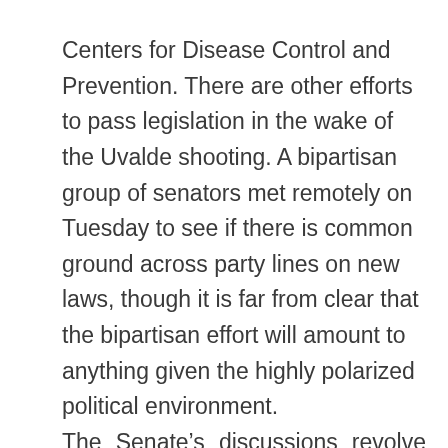Centers for Disease Control and Prevention. There are other efforts to pass legislation in the wake of the Uvalde shooting. A bipartisan group of senators met remotely on Tuesday to see if there is common ground across party lines on new laws, though it is far from clear that the bipartisan effort will amount to anything given the highly polarized political environment. The Senate’s discussions revolve around less restrictive gun measures than the House Judiciary committee’s bill, including strengthening background checks, and incentivizing mental health initiatives and compliance with “red flag” laws.